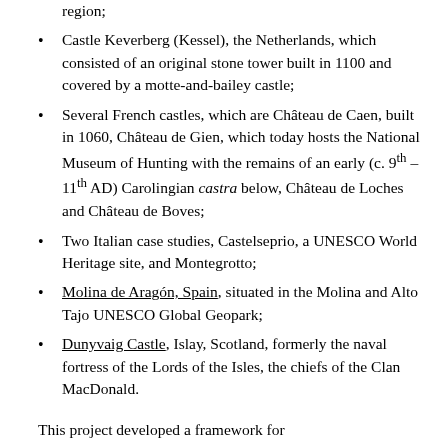region;
Castle Keverberg (Kessel), the Netherlands, which consisted of an original stone tower built in 1100 and covered by a motte-and-bailey castle;
Several French castles, which are Château de Caen, built in 1060, Château de Gien, which today hosts the National Museum of Hunting with the remains of an early (c. 9th – 11th AD) Carolingian castra below, Château de Loches and Château de Boves;
Two Italian case studies, Castelseprio, a UNESCO World Heritage site, and Montegrotto;
Molina de Aragón, Spain, situated in the Molina and Alto Tajo UNESCO Global Geopark;
Dunyvaig Castle, Islay, Scotland, formerly the naval fortress of the Lords of the Isles, the chiefs of the Clan MacDonald.
This project developed a framework for